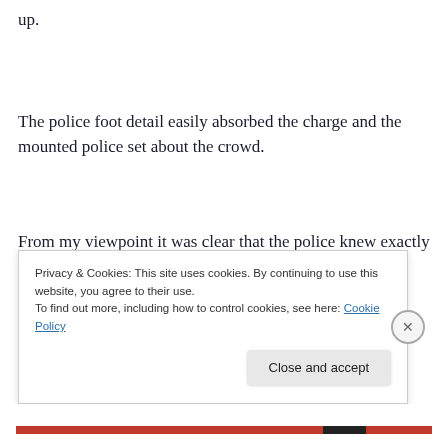up.
The police foot detail easily absorbed the charge and the mounted police set about the crowd.
From my viewpoint it was clear that the police knew exactly what was going to happen and timed their actions with precision. That is how Kevin Gately died of a head
Privacy & Cookies: This site uses cookies. By continuing to use this website, you agree to their use.
To find out more, including how to control cookies, see here: Cookie Policy
Close and accept